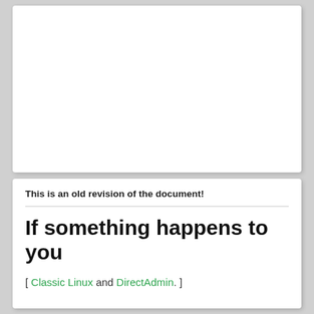This is an old revision of the document!
If something happens to you
[ Classic Linux and DirectAdmin. ]